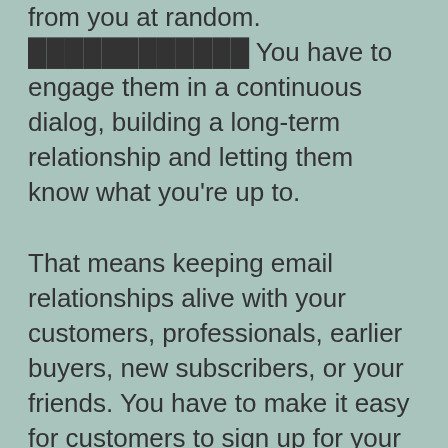from you at random. [underlined text] You have to engage them in a continuous dialog, building a long-term relationship and letting them know what you're up to.

That means keeping email relationships alive with your customers, professionals, earlier buyers, new subscribers, or your friends. You have to make it easy for customers to sign up for your lists, you can do that in several ways. You can offer them a free eBook, e-tape, or white paper, or you can offer them a newsletter or a tip sheet. You can also offer them special incentives for signing up, like discounts, free